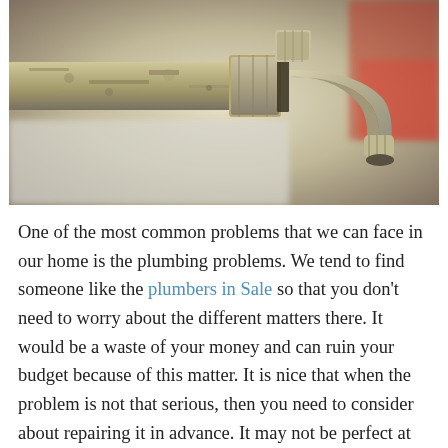[Figure (photo): Close-up photograph of an old, corroded metal outdoor water faucet/spigot with rust and mineral deposits on a pipe, with a blurred background.]
One of the most common problems that we can face in our home is the plumbing problems. We tend to find someone like the plumbers in Sale so that you don't need to worry about the different matters there. It would be a waste of your money and can ruin your budget because of this matter. It is nice that when the problem is not that serious, then you need to consider about repairing it in advance. It may not be perfect at first, but you can do a lot of